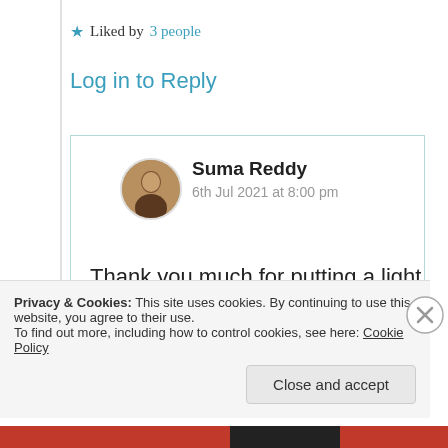★ Liked by 3 people
Log in to Reply
Suma Reddy
6th Jul 2021 at 8:00 pm
Thank you much for putting a light on my blog with your lovely visit always
Privacy & Cookies: This site uses cookies. By continuing to use this website, you agree to their use.
To find out more, including how to control cookies, see here: Cookie Policy
Close and accept